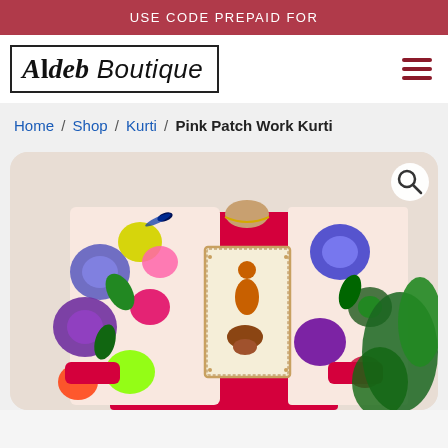USE CODE PREPAID FOR
[Figure (logo): Aldeb Boutique logo — text inside a rectangular border, italic serif font]
Home / Shop / Kurti / Pink Patch Work Kurti
[Figure (photo): Model wearing a pink patch work kurti with colorful floral print panels and a traditional art patch on the front. A green plant is visible in the background. A magnifier/search icon overlay appears in the top-right corner of the image.]